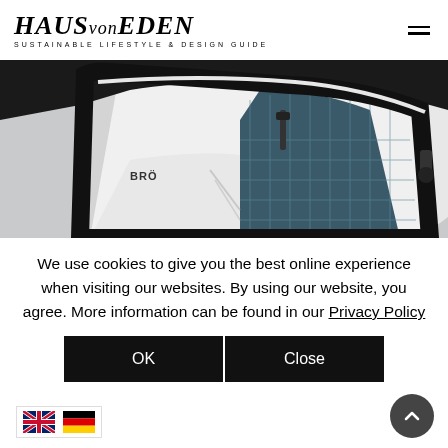HAUS von EDEN — SUSTAINABLE LIFESTYLE & DESIGN GUIDE
[Figure (photo): Close-up of a BRÖ electric vehicle door/interior showing white body panel, black trim, seatbelt, and blue mesh interior lining against a light grey background]
We use cookies to give you the best online experience when visiting our websites. By using our website, you agree. More information can be found in our Privacy Policy
OK
Close